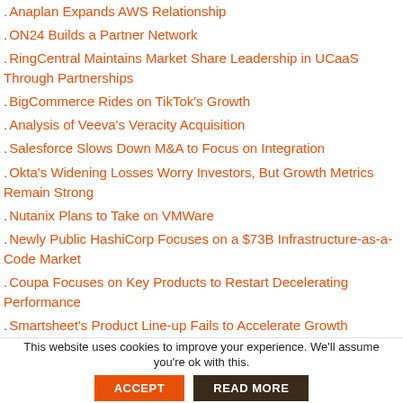Anaplan Expands AWS Relationship
ON24 Builds a Partner Network
RingCentral Maintains Market Share Leadership in UCaaS Through Partnerships
BigCommerce Rides on TikTok's Growth
Analysis of Veeva's Veracity Acquisition
Salesforce Slows Down M&A to Focus on Integration
Okta's Widening Losses Worry Investors, But Growth Metrics Remain Strong
Nutanix Plans to Take on VMWare
Newly Public HashiCorp Focuses on a $73B Infrastructure-as-a-Code Market
Coupa Focuses on Key Products to Restart Decelerating Performance
Smartsheet's Product Line-up Fails to Accelerate Growth
DocuSign Targets a $50 Billion Market Opportunity
Pure Storage Takes on Dell in Top Tier Storage Market
Analysis of PagerDuty's Catalytic Acquisition
Splunk Impresses with Enterprise Customer Growth
This website uses cookies to improve your experience. We'll assume you're ok with this.
ACCEPT | READ MORE